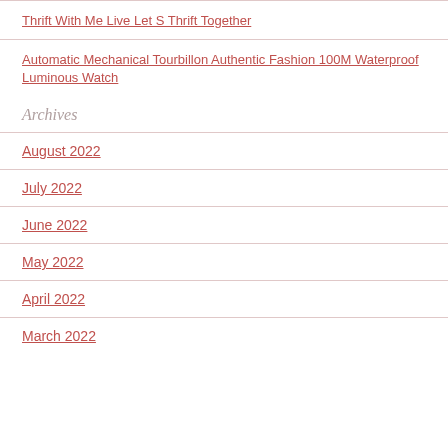Thrift With Me Live Let S Thrift Together
Automatic Mechanical Tourbillon Authentic Fashion 100M Waterproof Luminous Watch
Archives
August 2022
July 2022
June 2022
May 2022
April 2022
March 2022